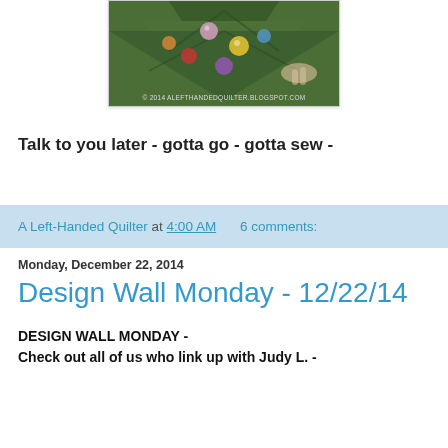[Figure (photo): Christmas tree with colorful ornaments, partially cropped. Watermark reads: © 2014 ALEFTHANDEDQUILTER.BLOGSPOT.COM]
Talk to you later - gotta go - gotta sew -
A Left-Handed Quilter at 4:00 AM   6 comments:
Monday, December 22, 2014
Design Wall Monday - 12/22/14
DESIGN WALL MONDAY -
Check out all of us who link up with Judy L. -